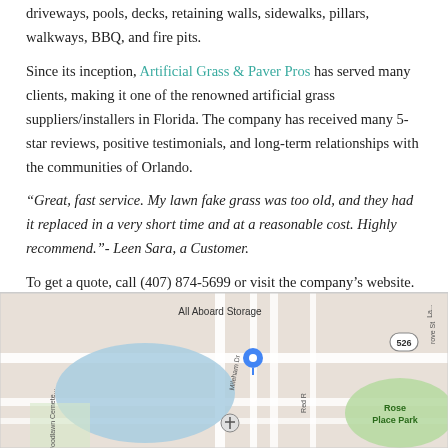driveways, pools, decks, retaining walls, sidewalks, pillars, walkways, BBQ, and fire pits.
Since its inception, Artificial Grass & Paver Pros has served many clients, making it one of the renowned artificial grass suppliers/installers in Florida. The company has received many 5-star reviews, positive testimonials, and long-term relationships with the communities of Orlando.
“Great, fast service. My lawn fake grass was too old, and they had it replaced in a very short time and at a reasonable cost. Highly recommend.”- Leen Sara, a Customer.
To get a quote, call (407) 874-5699 or visit the company’s website. Artificial Grass & Paver Pros is located at 258 Mileham Drive, Orlando, Florida, 32835, US.
[Figure (map): Google Maps screenshot showing the area near 258 Mileham Drive, Orlando, Florida, featuring All Aboard Storage, Rose Place Park, Woodlawn Cemetery, and route 526.]